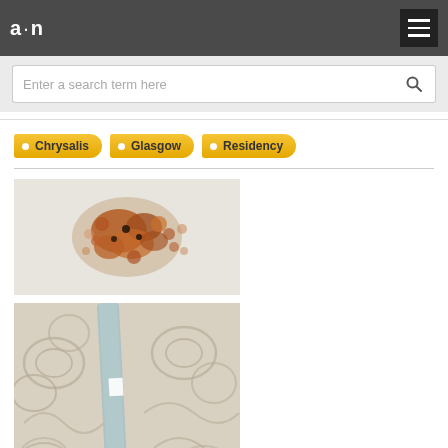a·n (logo) — navigation bar with hamburger menu
Enter a search term here
Chrysalis
Glasgow
Residency
[Figure (photo): Close-up photo of rust spots and corrosion on a white/grey surface]
[Figure (photo): Close-up photo of textured pale plaster or clay surface with a blue-grey strip/tool running diagonally, showing carved or impressed spiral/floral patterns]